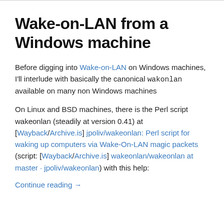Wake-on-LAN from a Windows machine
Before digging into Wake-on-LAN on Windows machines, I'll interlude with basically the canonical wakonlan available on many non Windows machines
On Linux and BSD machines, there is the Perl script wakeonlan (steadily at version 0.41) at [Wayback/Archive.is] jpoliv/wakeonlan: Perl script for waking up computers via Wake-On-LAN magic packets (script: [Wayback/Archive.is] wakeonlan/wakeonlan at master · jpoliv/wakeonlan) with this help:
Continue reading →